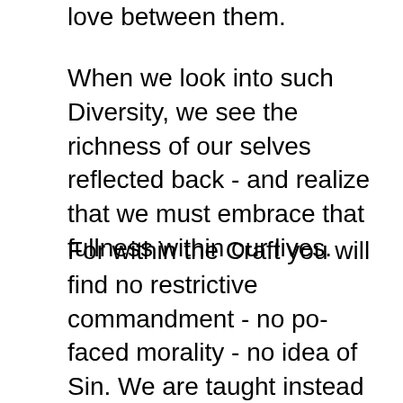love between them.
When we look into such Diversity, we see the richness of our selves reflected back - and realize that we must embrace that fullness within our lives.
For within the Craft you will find no restrictive commandment - no po-faced morality - no idea of Sin. We are taught instead to understand nature and our fellow man - to live according to our only